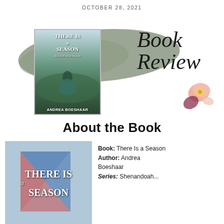OCTOBER 28, 2021
[Figure (illustration): Book cover of 'There Is a Season' by Andrea Boeshaar with decorative brush stroke background and floral decoration, labeled 'Book Review']
About the Book
[Figure (illustration): Large book cover of 'There Is a Season' with 'a' in script]
Book: There Is a Season
Author: Andrea Boeshaar
Series: Shenandoah...